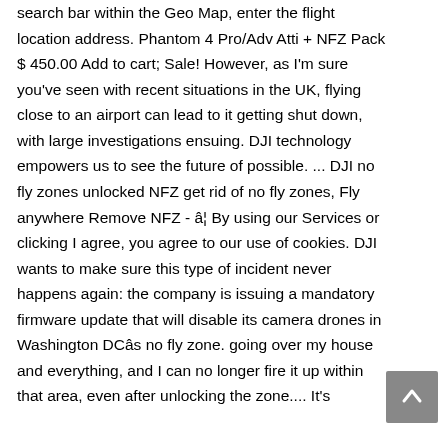search bar within the Geo Map, enter the flight location address. Phantom 4 Pro/Adv Atti + NFZ Pack $ 450.00 Add to cart; Sale! However, as I'm sure you've seen with recent situations in the UK, flying close to an airport can lead to it getting shut down, with large investigations ensuing. DJI technology empowers us to see the future of possible. ... DJI no fly zones unlocked NFZ get rid of no fly zones, Fly anywhere Remove NFZ - â¦ By using our Services or clicking I agree, you agree to our use of cookies. DJI wants to make sure this type of incident never happens again: the company is issuing a mandatory firmware update that will disable its camera drones in Washington DCâs no fly zone. going over my house and everything, and I can no longer fire it up within that area, even after unlocking the zone.... It's
[Figure (other): Back-to-top button (grey square with upward chevron arrow)]